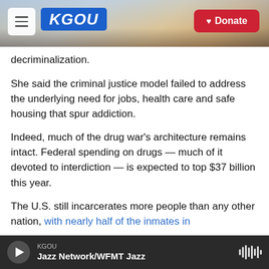KGOU — Donate
decriminalization.
She said the criminal justice model failed to address the underlying need for jobs, health care and safe housing that spur addiction.
Indeed, much of the drug war's architecture remains intact. Federal spending on drugs — much of it devoted to interdiction — is expected to top $37 billion this year.
The U.S. still incarcerates more people than any other nation, with nearly half of the inmates in
KGOU — Jazz Network/WFMT Jazz